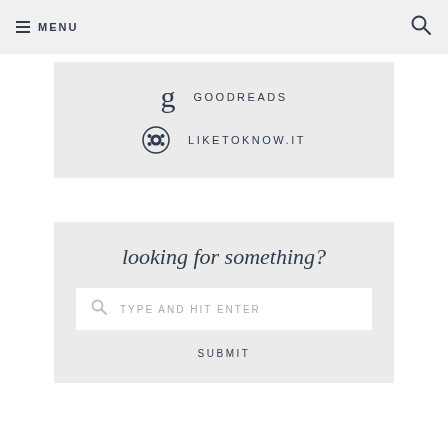MENU
GOODREADS
LIKETOKNOW.IT
looking for something?
TYPE AND HIT ENTER
SUBMIT